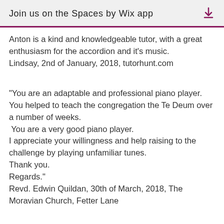Join us on the Spaces by Wix app
Anton is a kind and knowledgeable tutor, with a great enthusiasm for the accordion and it's music.
Lindsay, 2nd of January, 2018, tutorhunt.com
“You are an adaptable and professional piano player.
You helped to teach the congregation the Te Deum over a number of weeks.
 You are a very good piano player.
I appreciate your willingness and help raising to the challenge by playing unfamiliar tunes.
Thank you.
Regards.”
Revd. Edwin Quildan, 30th of March, 2018, The Moravian Church, Fetter Lane